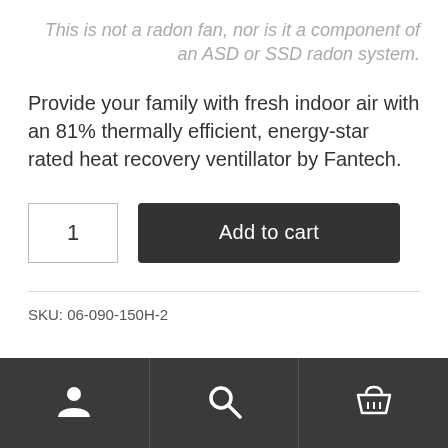This is not a radon fan, nor is it a component of an ASD or SSD radon system.
Provide your family with fresh indoor air with an 81% thermally efficient, energy-star rated heat recovery ventillator by Fantech.
1
Add to cart
SKU: 06-090-150H-2
[Figure (screenshot): Mobile app bottom navigation bar with three icons: person/user icon on the left, search/magnifying glass icon in the center, and shopping basket icon on the right, on a dark grey background.]